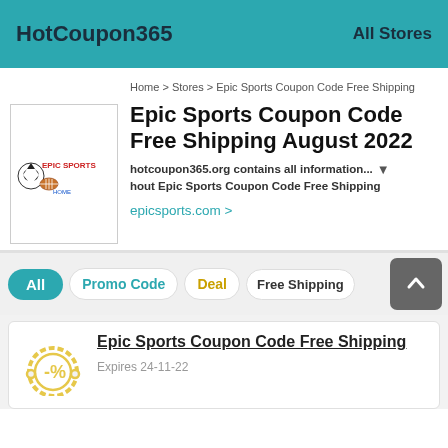HotCoupon365   All Stores
Home > Stores > Epic Sports Coupon Code Free Shipping
Epic Sports Coupon Code Free Shipping August 2022
hotcoupon365.org contains all information... hout Epic Sports Coupon Code Free Shipping
epicsports.com >
All   Promo Code   Deal   Free Shipping
Epic Sports Coupon Code Free Shipping
Expires 24-11-22